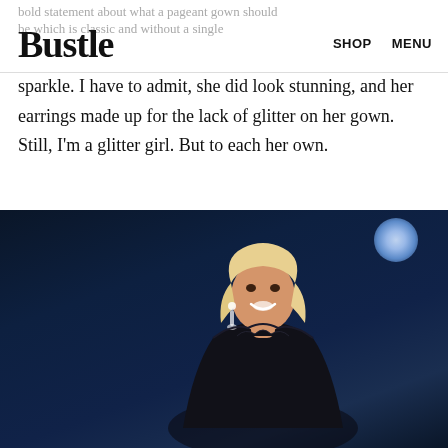Bustle  SHOP  MENU
bold statement about what a pageant gown should be which is classic and without a single sparkle. I have to admit, she did look stunning, and her earrings made up for the lack of glitter on her gown. Still, I'm a glitter girl. But to each her own.
[Figure (photo): A blonde woman smiling on a dark stage, wearing a black strapless gown and large chandelier earrings, with a bright spotlight in the upper right background.]